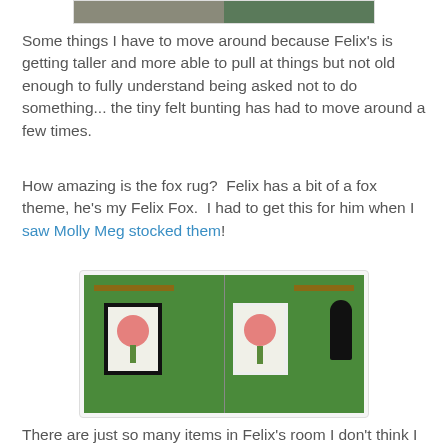[Figure (photo): Top partial image strip showing two side-by-side photos, partially cropped at top of page]
Some things I have to move around because Felix's is getting taller and more able to pull at things but not old enough to fully understand being asked not to do something... the tiny felt bunting has had to move around a few times.
How amazing is the fox rug?  Felix has a bit of a fox theme, he's my Felix Fox.  I had to get this for him when I saw Molly Meg stocked them!
[Figure (photo): Two side-by-side photos of a child's green bedroom wall decorated with shelves, framed artwork showing a tree with a fox, hanging fabric dolls, and wall decorations]
There are just so many items in Felix's room I don't think I